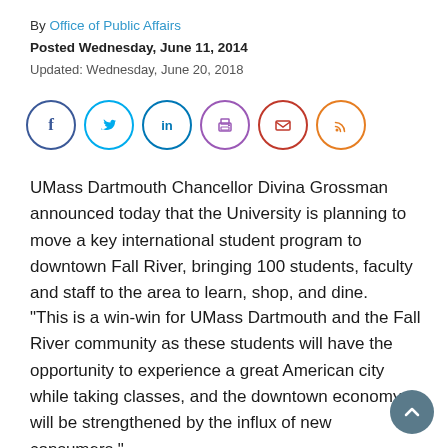By Office of Public Affairs
Posted Wednesday, June 11, 2014
Updated: Wednesday, June 20, 2018
[Figure (infographic): Social media share icons in circles: Facebook (dark blue), Twitter (cyan), LinkedIn (dark blue), Print (purple), Email (red/pink), RSS feed (orange)]
UMass Dartmouth Chancellor Divina Grossman announced today that the University is planning to move a key international student program to downtown Fall River, bringing 100 students, faculty and staff to the area to learn, shop, and dine.
"This is a win-win for UMass Dartmouth and the Fall River community as these students will have the opportunity to experience a great American city while taking classes, and the downtown economy will be strengthened by the influx of new consumers,"